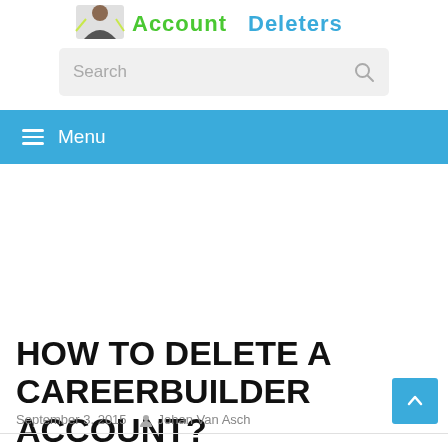[Figure (logo): AccountDeleters website logo with figure graphic and green/blue stylized text]
[Figure (screenshot): Search bar with placeholder text 'Search' and magnifying glass icon on grey background]
≡  Menu
HOW TO DELETE A CAREERBUILDER ACCOUNT?
September 3, 2015   Johan Van Asch